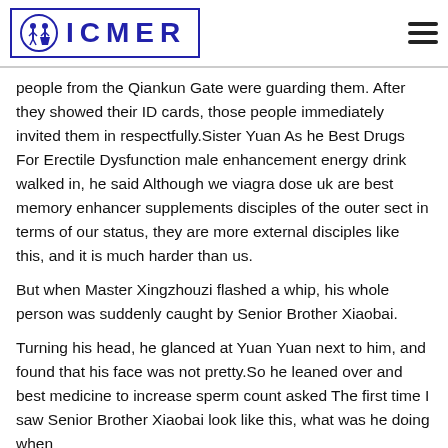ICMER
people from the Qiankun Gate were guarding them. After they showed their ID cards, those people immediately invited them in respectfully.Sister Yuan As he Best Drugs For Erectile Dysfunction male enhancement energy drink walked in, he said Although we viagra dose uk are best memory enhancer supplements disciples of the outer sect in terms of our status, they are more external disciples like this, and it is much harder than us.
But when Master Xingzhouzi flashed a whip, his whole person was suddenly caught by Senior Brother Xiaobai.
Turning his head, he glanced at Yuan Yuan next to him, and found that his face was not pretty.So he leaned over and best medicine to increase sperm count asked The first time I saw Senior Brother Xiaobai look like this, what was he doing when